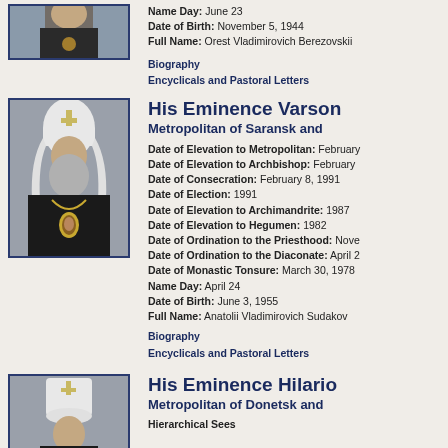[Figure (photo): Cropped photo of first clergyman, only bottom portion visible]
Name Day: June 23
Date of Birth: November 5, 1944
Full Name: Orest Vladimirovich Berezovskii
Biography
Encyclicals and Pastoral Letters
[Figure (photo): Portrait photo of His Eminence Varsonofy, Metropolitan of Saransk, wearing white klobuk and black vestments with gold panagia]
His Eminence Varson...
Metropolitan of Saransk and...
Date of Elevation to Metropolitan: February...
Date of Elevation to Archbishop: February...
Date of Consecration: February 8, 1991
Date of Election: 1991
Date of Elevation to Archimandrite: 1987
Date of Elevation to Hegumen: 1982
Date of Ordination to the Priesthood: Nove...
Date of Ordination to the Diaconate: April 2...
Date of Monastic Tonsure: March 30, 1978
Name Day: April 24
Date of Birth: June 3, 1955
Full Name: Anatolii Vladimirovich Sudakov
Biography
Encyclicals and Pastoral Letters
[Figure (photo): Portrait photo of His Eminence Hilario, Metropolitan of Donetsk, wearing white klobuk]
His Eminence Hilario...
Metropolitan of Donetsk and...
Hierarchical Sees